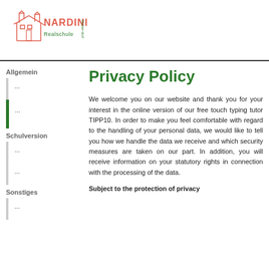[Figure (logo): Nardini Realschule logo with building outline in red/coral and green text]
Allgemein
...
...
Schulversion
...
...
Sonstiges
...
Privacy Policy
We welcome you on our website and thank you for your interest in the online version of our free touch typing tutor TIPP10. In order to make you feel comfortable with regard to the handling of your personal data, we would like to tell you how we handle the data we receive and which security measures are taken on our part. In addition, you will receive information on your statutory rights in connection with the processing of the data.
Subject to the protection of privacy